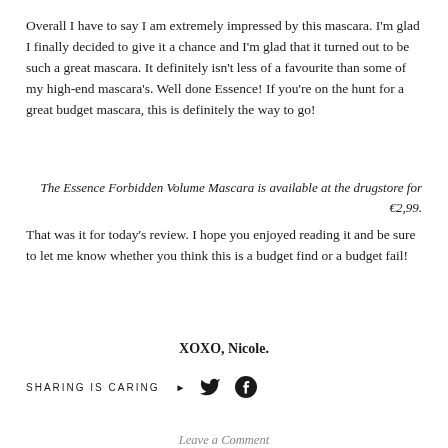Overall I have to say I am extremely impressed by this mascara. I'm glad I finally decided to give it a chance and I'm glad that it turned out to be such a great mascara. It definitely isn't less of a favourite than some of my high-end mascara's. Well done Essence! If you're on the hunt for a great budget mascara, this is definitely the way to go!
The Essence Forbidden Volume Mascara is available at the drugstore for €2,99.
That was it for today's review. I hope you enjoyed reading it and be sure to let me know whether you think this is a budget find or a budget fail!
XOXO, Nicole.
SHARING IS CARING
Leave a Comment